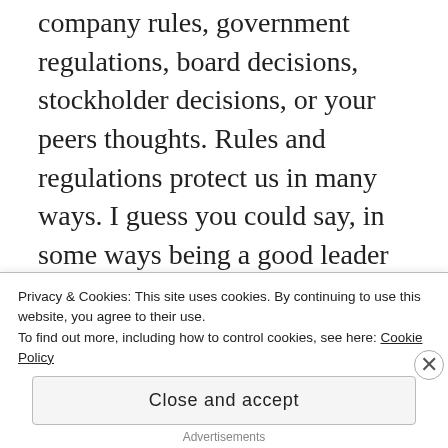company rules, government regulations, board decisions, stockholder decisions, or your peers thoughts. Rules and regulations protect us in many ways. I guess you could say, in some ways being a good leader is being a good follower. The first thing that comes to mind is information security. We can't be reckless with information security. It's not the right thing to do. Our corporations and their partners and clients depend on us to make sure we have things under lock and key and are following industry standards to make sure of it. This is a prime example where paving your way just doesn't
Privacy & Cookies: This site uses cookies. By continuing to use this website, you agree to their use.
To find out more, including how to control cookies, see here: Cookie Policy
Close and accept
Advertisements